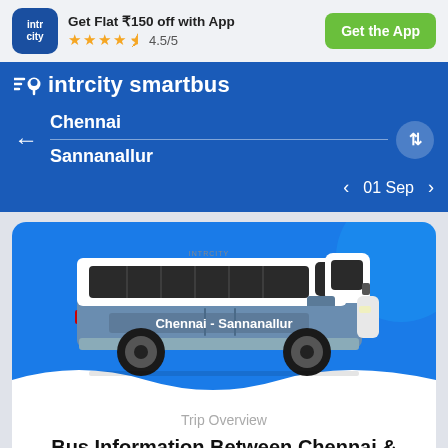Get Flat ₹150 off with App | ★★★★✦ 4.5/5 | Get the App
intrcity smartbus
Chennai
Sannanallur
01 Sep
[Figure (illustration): Illustrated side-view of a coach bus with text 'Chennai - Sannanallur' on its body, shown on a blue background with white wave at bottom]
Trip Overview
Bus Information Between Chennai &